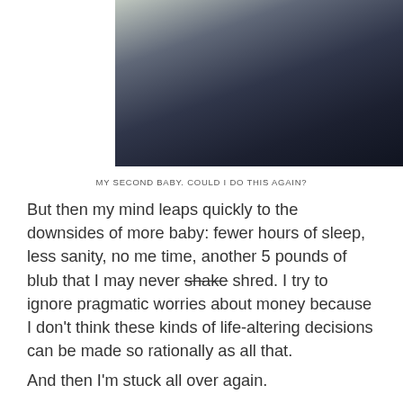[Figure (photo): Close-up photo of dark navy/charcoal fleece or fabric, appearing to be clothing or a blanket, with a light beige wall visible in the background.]
MY SECOND BABY. COULD I DO THIS AGAIN?
But then my mind leaps quickly to the downsides of more baby: fewer hours of sleep, less sanity, no me time, another 5 pounds of blub that I may never shake shred. I try to ignore pragmatic worries about money because I don’t think these kinds of life-altering decisions can be made so rationally as all that.
And then I’m stuck all over again.